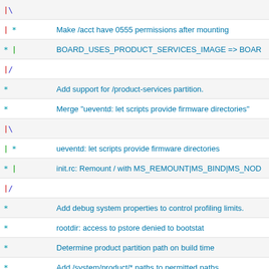|\
|  *        Make /acct have 0555 permissions after mounting
*  |        BOARD_USES_PRODUCT_SERVICES_IMAGE => BOAR...
|/
*           Add support for /product-services partition.
*           Merge "ueventd: let scripts provide firmware directories"
|\
|  *        ueventd: let scripts provide firmware directories
*  |        init.rc: Remount / with MS_REMOUNT|MS_BIND|MS_NOD...
|/
*           Add debug system properties to control profiling limits.
*           rootdir: access to pstore denied to bootstat
*           Determine product partition path on build time
*           Add /system/product/* paths to permitted paths
*           Shared libs are supported in recovery mode
*           Support /product/bin
*           Merge "Support product-specific libraries"
|\
|  *        Support product-specific libraries
*  |        Merge "Always use versioned VNDK directory"
|\ \
|  *  |     Always use versioned VNDK directory
|  |/
*  /        Add a new directory to store downloaded apns